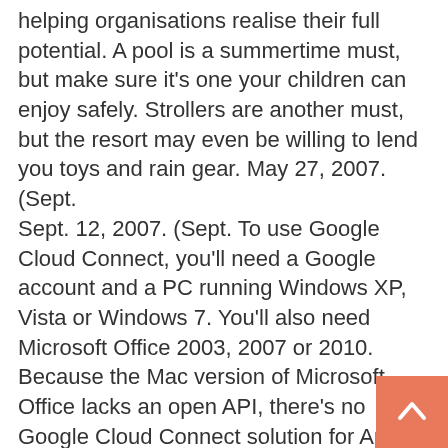helping organisations realise their full potential. A pool is a summertime must, but make sure it's one your children can enjoy safely. Strollers are another must, but the resort may even be willing to lend you toys and rain gear. May 27, 2007. (Sept. Sept. 12, 2007. (Sept. To use Google Cloud Connect, you'll need a Google account and a PC running Windows XP, Vista or Windows 7. You'll also need Microsoft Office 2003, 2007 or 2010. Because the Mac version of Microsoft Office lacks an open API, there's no Google Cloud Connect solution for Apple fans yet. In contrast, Saint Mary's of the Immaculate Conception (203 E 10th St) features a stout design that accentuates its rose windows, bell tower, and stained-glass windows imported from France and Germany. Once the bell reached the sub, rescuers attached cables to the sub so they could tow it to the surface. Before you put up your tent, clear any rocks, sticks and pinecones that might poke you in the back while you're trying to snooze. While you should